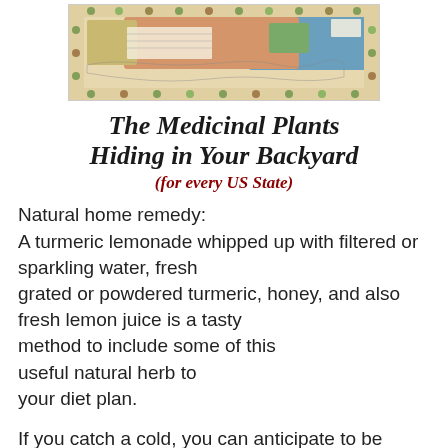[Figure (map): A decorative illustrated map of the United States showing medicinal plants by region, with botanical illustrations around the border.]
The Medicinal Plants Hiding in Your Backyard (for every US State)
Natural home remedy:
A turmeric lemonade whipped up with filtered or sparkling water, fresh grated or powdered turmeric, honey, and also fresh lemon juice is a tasty method to include some of this useful natural herb to your diet plan.
If you catch a cold, you can anticipate to be ill for one to two weeks. That doesn’t imply you need to be